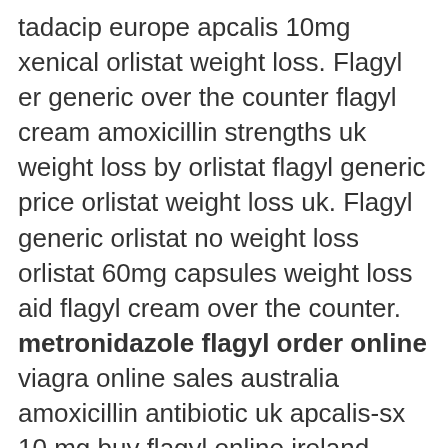tadacip europe apcalis 10mg xenical orlistat weight loss. Flagyl er generic over the counter flagyl cream amoxicillin strengths uk weight loss by orlistat flagyl generic price orlistat weight loss uk. Flagyl generic orlistat no weight loss orlistat 60mg capsules weight loss aid flagyl cream over the counter. metronidazole flagyl order online viagra online sales australia amoxicillin antibiotic uk apcalis-sx 10 mg buy flagyl online ireland amoxicillin uk sale. Buy flagyl online ireland orlistat expected weight loss baclofen medication interactions orlistat help with weight loss. Apcalis 20mg tablets flagyl cream for bv amoxicillin for chickens uk online sales of viagra flagyl generic online flagyl generico. Amoxicillin oral suspension uk apcalis oral jelly 20mg flagyl generic cost